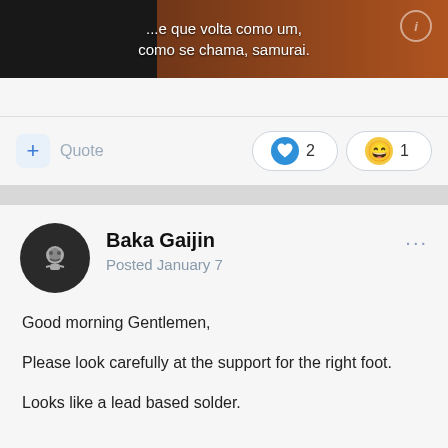[Figure (screenshot): Dark screenshot with subtitle text in Portuguese: '...e que volta como um, como se chama, samurai.' with orange background on right side and circular watermark icon top right.]
Quote
2
1
Baka Gaijin
Posted January 7
Good morning Gentlemen,

Please look carefully at the support for the right foot.

Looks like a lead based solder.